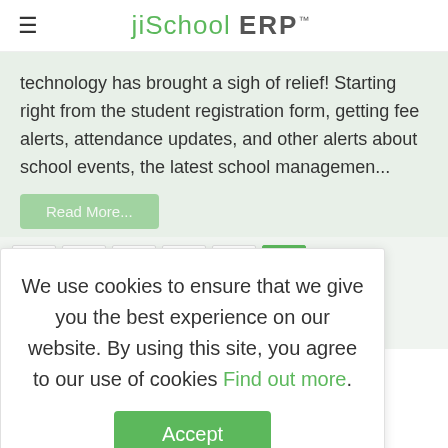jiSchool ERP™
technology has brought a sigh of relief! Starting right from the student registration form, getting fee alerts, attendance updates, and other alerts about school events, the latest school managemen...
We use cookies to ensure that we give you the best experience on our website. By using this site, you agree to our use of cookies Find out more.
Accept